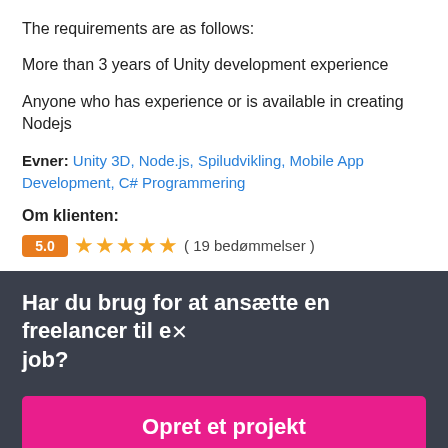The requirements are as follows:
More than 3 years of Unity development experience
Anyone who has experience or is available in creating Nodejs
Evner: Unity 3D, Node.js, Spiludvikling, Mobile App Development, C# Programmering
Om klienten:
5.0 ★★★★★ ( 19 bedømmelser )
Har du brug for at ansætte en freelancer til et job?
Opret et projekt